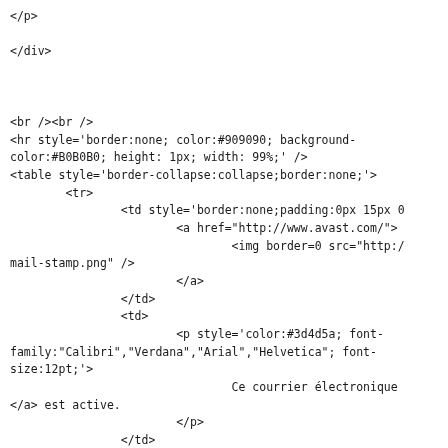&lt;/p&gt;

&lt;/div&gt;



&lt;br /&gt;&lt;br /&gt;
&lt;hr style='border:none; color:#909090; background-color:#B0B0B0; height: 1px; width: 99%;' /&gt;
&lt;table style='border-collapse:collapse;border:none;'&gt;
        &lt;tr&gt;
                &lt;td style='border:none;padding:0px 15px 0
                        &lt;a href="http://www.avast.com/"&gt;
                                &lt;img border=0 src="http:,
mail-stamp.png" /&gt;
                        &lt;/a&gt;
                &lt;/td&gt;
                &lt;td&gt;
                        &lt;p style='color:#3d4d5a; font-family:"Calibri","Verdana","Arial","Helvetica"; font-size:12pt;'&gt;
                                        Ce courrier électronique
&lt;/a&gt; est active.
                        &lt;/p&gt;
                &lt;/td&gt;
        &lt;/tr&gt;
&lt;/table&gt;
&lt;br /&gt;
&lt;/body&gt;

&lt;/html&gt;